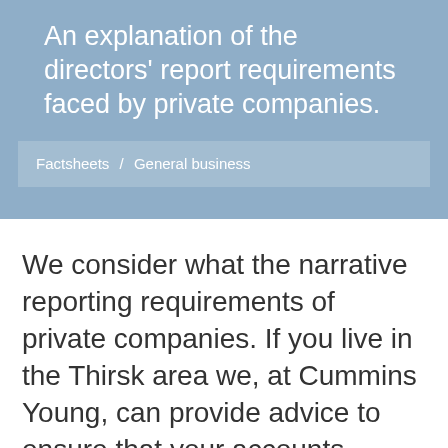An explanation of the directors' report requirements faced by private companies.
Factsheets / General business
We consider what the narrative reporting requirements of private companies. If you live in the Thirsk area we, at Cummins Young, can provide advice to ensure that your accounts include information